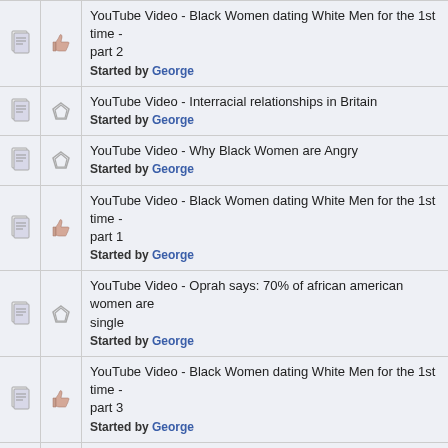YouTube Video - Black Women dating White Men for the 1st time - part 2
Started by George
YouTube Video - Interracial relationships in Britain
Started by George
YouTube Video - Why Black Women are Angry
Started by George
YouTube Video - Black Women dating White Men for the 1st time - part 1
Started by George
YouTube Video - Oprah says: 70% of african american women are single
Started by George
YouTube Video - Black Women dating White Men for the 1st time - part 3
Started by George
YouTube Video - Interracial Dating--Black Women and White Men - NBC News
Started by George
YouTube Video - An ethnography on interracial relationships by UNC
Started by George